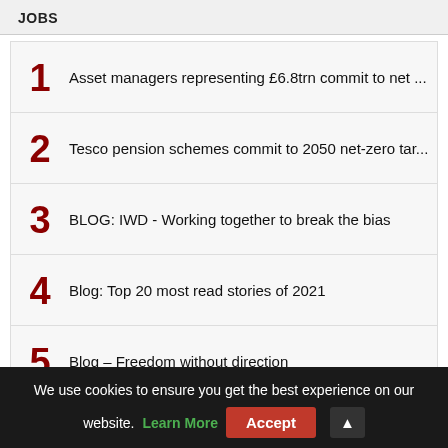JOBS
1  Asset managers representing £6.8trn commit to net ...
2  Tesco pension schemes commit to 2050 net-zero tar...
3  BLOG: IWD - Working together to break the bias
4  Blog: Top 20 most read stories of 2021
5  Blog – Freedom without direction
6  TPO partly upholds complaint against Capita
We use cookies to ensure you get the best experience on our website. Learn More  Accept